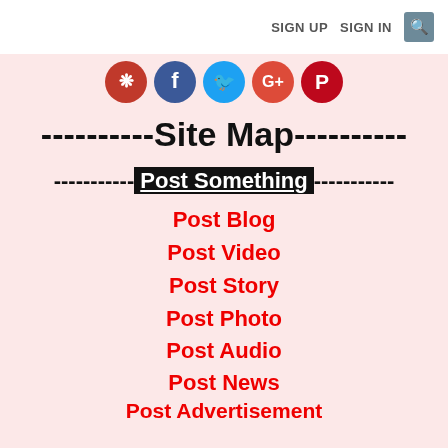SIGN UP   SIGN IN  🔍
[Figure (illustration): Social media icons: a custom logo, Facebook, Twitter, Google/YouTube, Pinterest/Reddit circle icons in a row]
----------Site Map----------
----------Post Something----------
Post Blog
Post Video
Post Story
Post Photo
Post Audio
Post News
Post Advertisement
Post Product
Post Cloud Storge
Post Classroom